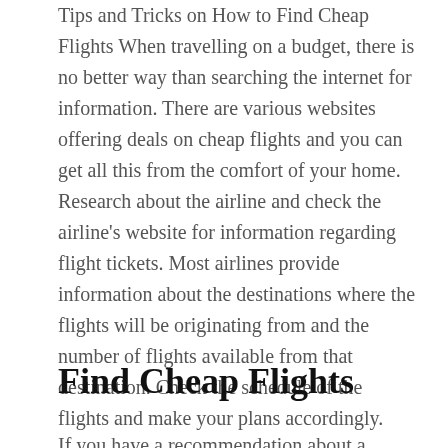Tips and Tricks on How to Find Cheap Flights When travelling on a budget, there is no better way than searching the internet for information. There are various websites offering deals on cheap flights and you can get all this from the comfort of your home. Research about the airline and check the airline's website for information regarding flight tickets. Most airlines provide information about the destinations where the flights will be originating from and the number of flights available from that destination. Check the schedule of the flights and make your plans accordingly.
Find Cheap Flights
If you have a recommendation about a cheap...